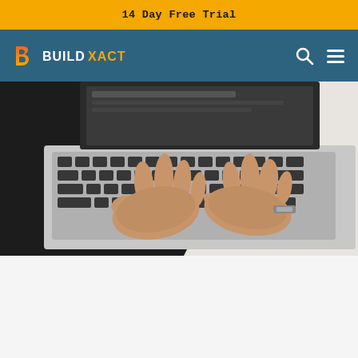14 Day Free Trial
[Figure (logo): BuildXact logo with orange/yellow 'b' icon and BUILDXACT text in white, on teal navigation bar with search and hamburger menu icons]
[Figure (photo): Close-up photo of a person's hands typing on a laptop keyboard, partially cropped, dark background with white/light diagonal section visible]